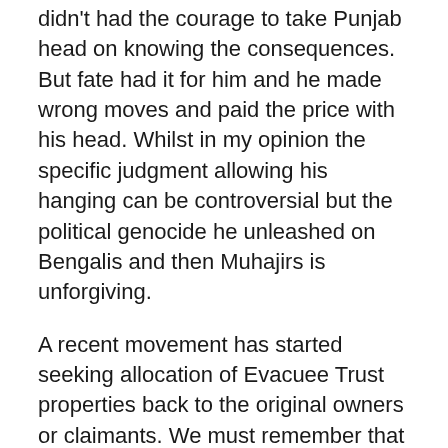didn't had the courage to take Punjab head on knowing the consequences. But fate had it for him and he made wrong moves and paid the price with his head. Whilst in my opinion the specific judgment allowing his hanging can be controversial but the political genocide he unleashed on Bengalis and then Muhajirs is unforgiving.
A recent movement has started seeking allocation of Evacuee Trust properties back to the original owners or claimants. We must remember that this land as per treaties on the premise of foundation of Pakistan and by the founders of the nation was rightful share of who migrated and sacrificed. The argument that the Muhajirs were given refuge is nothing but a big farce as I must remind that most of the current Pakistan didn't even vote in majority in the favor of Pakistan though Muslims were in majority here. Whilst on the contrary being a minority still